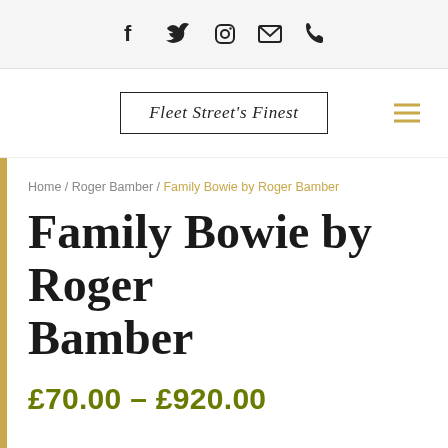Social icons: Facebook, Twitter, Instagram, Email, Phone
[Figure (logo): Fleet Street's Finest logo in a rectangular border with hamburger menu icon]
Home / Roger Bamber / Family Bowie by Roger Bamber
Family Bowie by Roger Bamber
£70.00 – £920.00
[Figure (other): Search magnifying glass icon at bottom right]